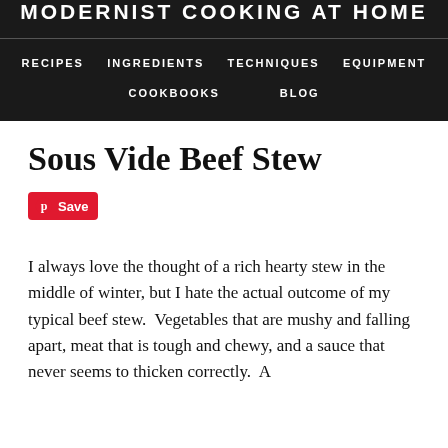MODERNIST COOKING AT HOME
RECIPES   INGREDIENTS   TECHNIQUES   EQUIPMENT   COOKBOOKS   BLOG
Sous Vide Beef Stew
I always love the thought of a rich hearty stew in the middle of winter, but I hate the actual outcome of my typical beef stew.  Vegetables that are mushy and falling apart, meat that is tough and chewy, and a sauce that never seems to thicken correctly.  A